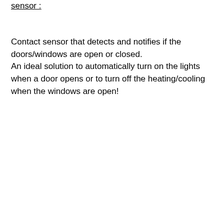sensor :
Contact sensor that detects and notifies if the doors/windows are open or closed.
An ideal solution to automatically turn on the lights when a door opens or to turn off the heating/cooling when the windows are open!